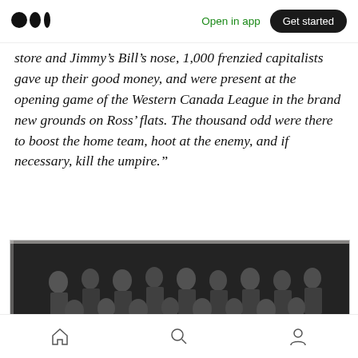Open in app | Get started
store and Jimmy's Bill's nose, 1,000 frenzied capitalists gave up their good money, and were present at the opening game of the Western Canada League in the brand new grounds on Ross' flats. The thousand odd were there to boost the home team, hoot at the enemy, and if necessary, kill the umpire."
[Figure (photo): Vintage black and white group photograph showing approximately 15-20 men posed together in two rows, appearing to be from the early 20th century.]
Home | Search | Profile